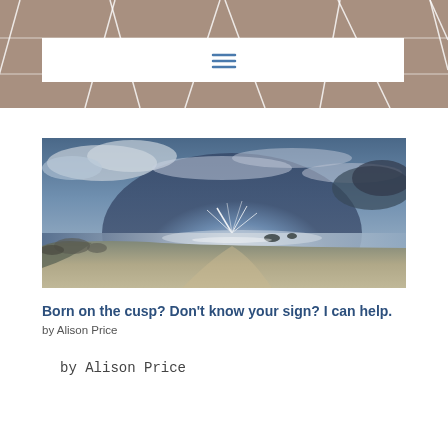[Figure (other): Website header banner with brownish-taupe tile/grid pattern and a white navigation bar containing a hamburger menu icon in blue]
[Figure (photo): Panoramic beach photo with dramatic cloudy sky, sunburst over the ocean, sandy shoreline with rocks]
Born on the cusp? Don't know your sign? I can help.
by Alison Price
by Alison Price